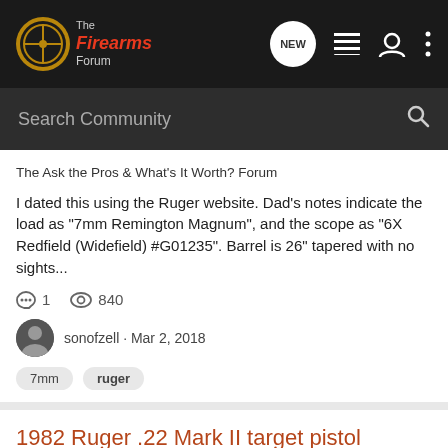The Firearms Forum
The Ask the Pros & What's It Worth? Forum
I dated this using the Ruger website. Dad's notes indicate the load as "7mm Remington Magnum", and the scope as "6X Redfield (Widefield) #G01235". Barrel is 26" tapered with no sights...
1 comments, 840 views · sonofzell · Mar 2, 2018
7mm   ruger
1982 Ruger .22 Mark II target pistol
The Ask the Pros & What's It Worth? Forum
This pistol was notorious in my house - Dad LOVED his Rugers, but HATED this pistol lol! I believe this was...